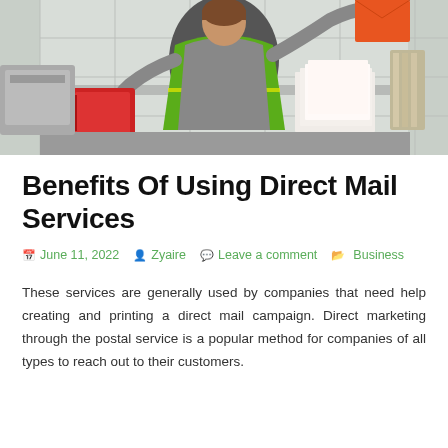[Figure (photo): A person wearing a green high-visibility vest sorting mail/envelopes and red binders at a postal sorting area, viewed from behind]
Benefits Of Using Direct Mail Services
June 11, 2022   Zyaire   Leave a comment   Business
These services are generally used by companies that need help creating and printing a direct mail campaign. Direct marketing through the postal service is a popular method for companies of all types to reach out to their customers.